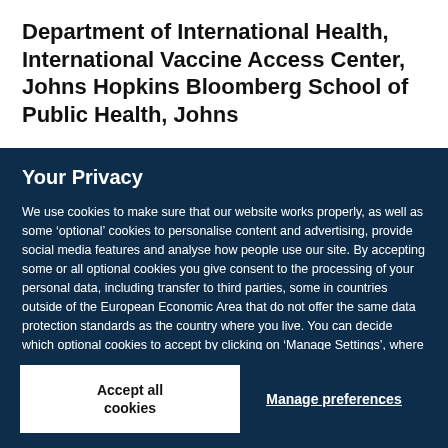Department of International Health, International Vaccine Access Center, Johns Hopkins Bloomberg School of Public Health, Johns
Your Privacy
We use cookies to make sure that our website works properly, as well as some ‘optional’ cookies to personalise content and advertising, provide social media features and analyse how people use our site. By accepting some or all optional cookies you give consent to the processing of your personal data, including transfer to third parties, some in countries outside of the European Economic Area that do not offer the same data protection standards as the country where you live. You can decide which optional cookies to accept by clicking on ‘Manage Settings’, where you can also find more information about how your personal data is processed. Further information can be found in our privacy policy.
Accept all cookies
Manage preferences